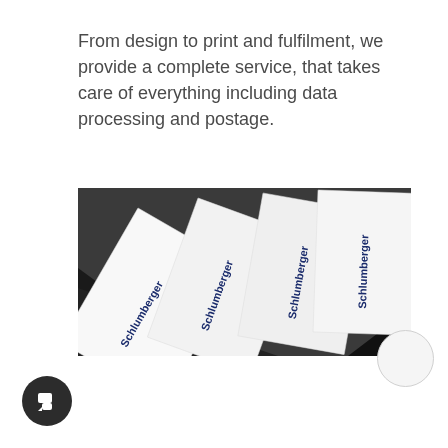From design to print and fulfilment, we provide a complete service, that takes care of everything including data processing and postage.
[Figure (photo): Photo of multiple white envelopes fanned out, each printed with the Schlumberger logo in dark blue text rotated vertically, placed on a dark surface.]